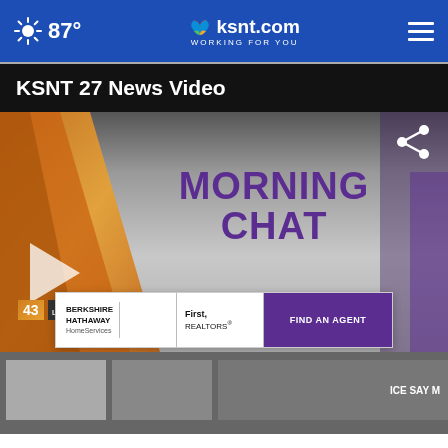87° ksnt.com WORKING FOR YOU
KSNT 27 News Video
[Figure (screenshot): Video thumbnail for 'Morning Chat' segment on KSNT 27 News, with a play button, share icon, and a close (X) button overlay. The thumbnail shows a purple bold text 'MORNING CHAT' on a grey gradient background with orange/gold diagonal design elements on the left side and a station logo watermark.]
[Figure (advertisement): Berkshire Hathaway HomeServices | First, REALTORS banner advertisement with a purple 'FIND AN AGENT' button]